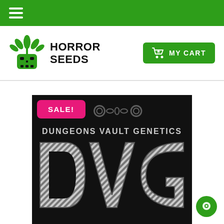Navigation bar with hamburger menu
HORROR SEEDS
MY CART
[Figure (logo): Dungeons Vault Genetics (DVG) product image on black background with SALE! badge. Text reads: DUNGEONS VAULT GENETICS DVG in large metallic letters.]